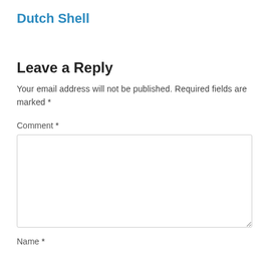Dutch Shell
Leave a Reply
Your email address will not be published. Required fields are marked *
Comment *
Name *